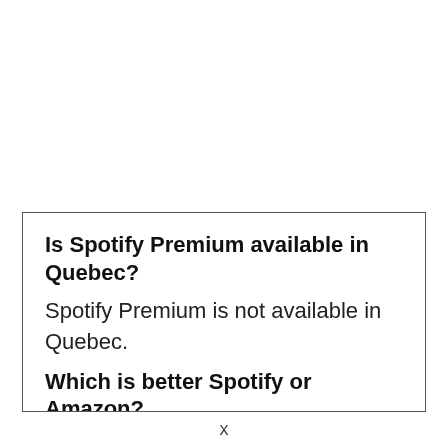Is Spotify Premium available in Quebec?
Spotify Premium is not available in Quebec.
Which is better Spotify or Amazon?
Spotify is better than Amazon Music as it
x